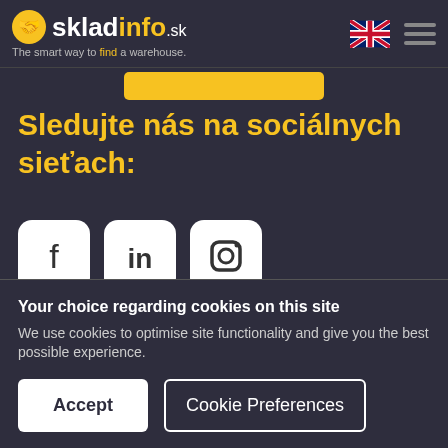skladinfo.sk — The smart way to find a warehouse.
Sledujte nás na sociálnych sieťach:
[Figure (illustration): Three social media icons: Facebook, LinkedIn, Instagram]
Naši hlavní partneri
Your choice regarding cookies on this site
We use cookies to optimise site functionality and give you the best possible experience.
Accept | Cookie Preferences